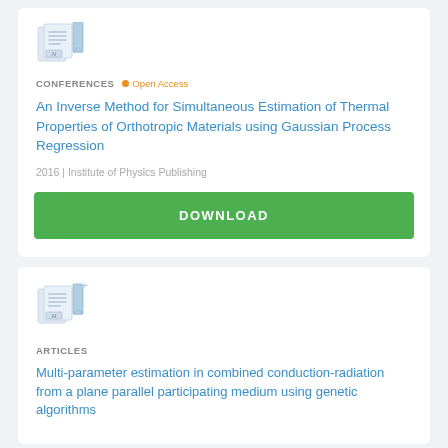[Figure (illustration): Document/paper icon with AI label and bookmark symbol]
CONFERENCES  8 Open Access
An Inverse Method for Simultaneous Estimation of Thermal Properties of Orthotropic Materials using Gaussian Process Regression
2016 | Institute of Physics Publishing
DOWNLOAD
[Figure (illustration): Document/paper icon with AI label and sparkle/plus symbol]
ARTICLES
Multi-parameter estimation in combined conduction-radiation from a plane parallel participating medium using genetic algorithms